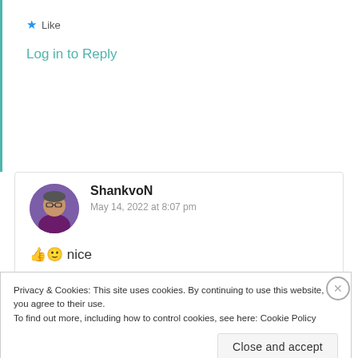★ Like
Log in to Reply
ShankvoN
May 14, 2022 at 8:07 pm
👍🙂 nice
Privacy & Cookies: This site uses cookies. By continuing to use this website, you agree to their use.
To find out more, including how to control cookies, see here: Cookie Policy
Close and accept